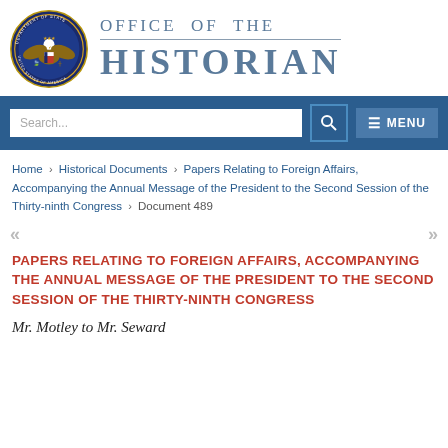[Figure (logo): US Department of State seal and Office of the Historian logo]
Search...
MENU
Home › Historical Documents › Papers Relating to Foreign Affairs, Accompanying the Annual Message of the President to the Second Session of the Thirty-ninth Congress › Document 489
PAPERS RELATING TO FOREIGN AFFAIRS, ACCOMPANYING THE ANNUAL MESSAGE OF THE PRESIDENT TO THE SECOND SESSION OF THE THIRTY-NINTH CONGRESS
Mr. Motley to Mr. Seward